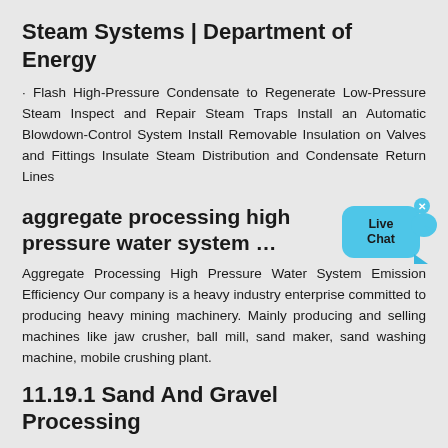Steam Systems | Department of Energy
· Flash High-Pressure Condensate to Regenerate Low-Pressure Steam Inspect and Repair Steam Traps Install an Automatic Blowdown-Control System Install Removable Insulation on Valves and Fittings Insulate Steam Distribution and Condensate Return Lines
[Figure (other): Live Chat button/widget with blue speech bubble and close button]
aggregate processing high pressure water system ...
Aggregate Processing High Pressure Water System Emission Efficiency Our company is a heavy industry enterprise committed to producing heavy mining machinery. Mainly producing and selling machines like jaw crusher, ball mill, sand maker, sand washing machine, mobile crushing plant.
11.19.1 Sand And Gravel Processing